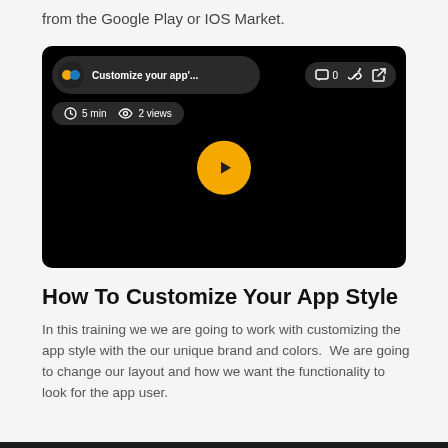from the Google Play or IOS Market.
[Figure (screenshot): Embedded video player screenshot with dark background, showing title 'Customize your app\'...', channel icon, 5 min duration, 2 views, comment/link/share icons, and a yellow play button in the center.]
How To Customize Your App Style
In this training we we are going to work with customizing the app style with the our unique brand and colors.  We are going to change our layout and how we want the functionality to look for the app user.